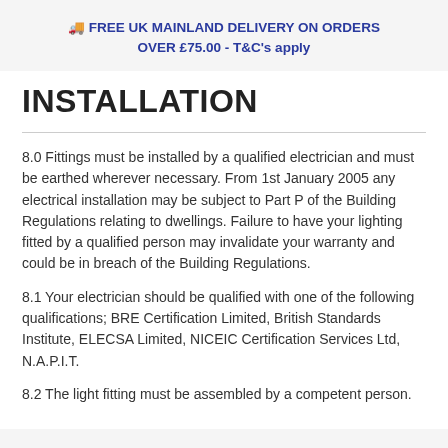🚚 FREE UK MAINLAND DELIVERY ON ORDERS OVER £75.00 - T&C's apply
INSTALLATION
8.0 Fittings must be installed by a qualified electrician and must be earthed wherever necessary. From 1st January 2005 any electrical installation may be subject to Part P of the Building Regulations relating to dwellings. Failure to have your lighting fitted by a qualified person may invalidate your warranty and could be in breach of the Building Regulations.
8.1 Your electrician should be qualified with one of the following qualifications; BRE Certification Limited, British Standards Institute, ELECSA Limited, NICEIC Certification Services Ltd, N.A.P.I.T.
8.2 The light fitting must be assembled by a competent person.